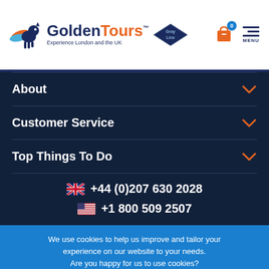[Figure (logo): Golden Tours Gray Line logo with horse mascot]
About
Customer Service
Top Things To Do
+44 (0)207 630 2028
+1 800 509 2507
We use cookies to help us improve and tailor your experience on our website to your needs. Are you happy for us to use cookies?